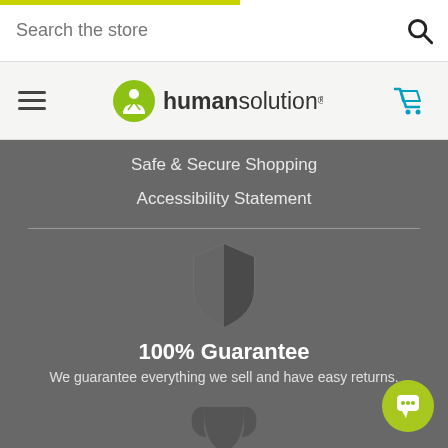[Figure (screenshot): Search bar with 'Search the store' placeholder text and magnifying glass icon]
[Figure (logo): Human Solution logo with green circle icon and 'humansolution' text, hamburger menu icon on left, cyan cart icon on right]
Safe & Secure Shopping
Accessibility Statement
[Figure (illustration): Shield icon representing 100% Guarantee]
100% Guarantee
We guarantee everything we sell and have easy returns.
[Figure (illustration): Trophy icon representing Top Tier Customer Service]
Top Tier Customer Service